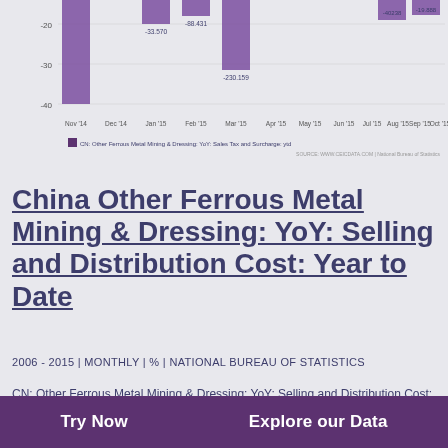[Figure (continuous-plot): Partial bar/area chart showing CN: Other Ferrous Metal Mining & Dressing: YoY: Sales Tax and Surcharge: ytd data from Nov '14 to Oct '15. Visible bars include values around -33.something, -88.something, -230.something at various months, with purple colored bars. Y-axis shows values from -40 to -20.]
China Other Ferrous Metal Mining & Dressing: YoY: Selling and Distribution Cost: Year to Date
2006 - 2015 | MONTHLY | % | NATIONAL BUREAU OF STATISTICS
CN: Other Ferrous Metal Mining & Dressing: YoY: Selling and Distribution Cost: ytd data was reported at -10.110 % in Oct 2015. This records a decrease from the previous number of -7.155 % for Sep 2015. CN: Other Ferrous Metal Mining & Dressing: YoY: Selling and Distribution Cost: ytd data was...
Try Now    Explore our Data